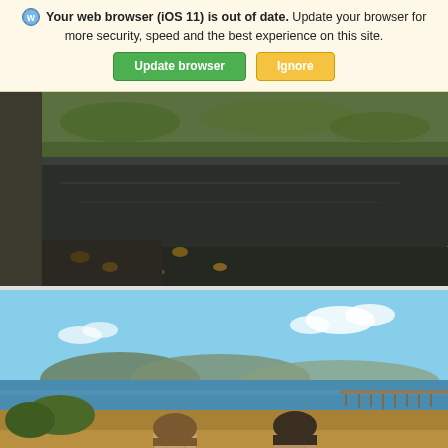Your web browser (iOS 11) is out of date. Update your browser for more security, speed and the best experience on this site. [Update browser] [Ignore]
[Figure (photo): Close-up photo of mossy stone steps or ledge near water, with wet dark stone surface and autumn leaves scattered around. Green moss visible on stone edges.]
[Figure (photo): Two women sitting outdoors near a coastal waterway with blue sky, distant hills, dry golden grass in foreground and a pier/jetty visible in the background. One woman wears a light grey top with green scarf; the other wears a dark fleece jacket.]